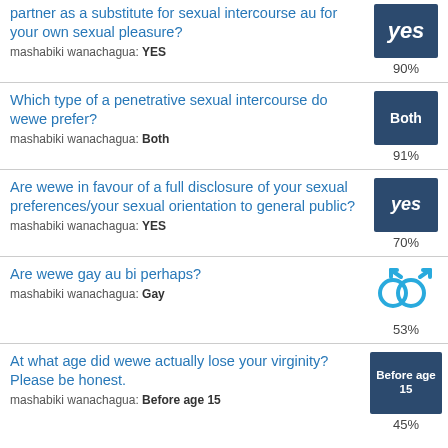partner as a substitute for sexual intercourse au for your own sexual pleasure? mashabiki wanachagua: YES — 90%
Which type of a penetrative sexual intercourse do wewe prefer? mashabiki wanachagua: Both — 91%
Are wewe in favour of a full disclosure of your sexual preferences/your sexual orientation to general public? mashabiki wanachagua: YES — 70%
Are wewe gay au bi perhaps? mashabiki wanachagua: Gay — 53%
At what age did wewe actually lose your virginity? Please be honest. mashabiki wanachagua: Before age 15 — 45%